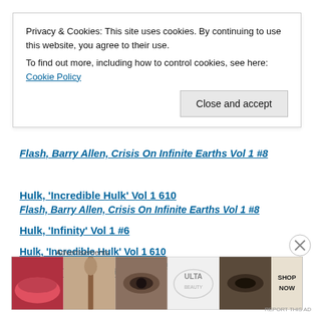Privacy & Cookies: This site uses cookies. By continuing to use this website, you agree to their use. To find out more, including how to control cookies, see here: Cookie Policy
Close and accept
Flash, Barry Allen, Crisis On Infinite Earths Vol 1 #8
Hulk, 'Incredible Hulk' Vol 1 610
Hulk, 'Infinity' Vol 1 #6
Batman, Superman/Batman Vol 1 12
Advertisements
[Figure (other): ULTA beauty advertisement banner showing makeup close-ups and 'SHOP NOW' text]